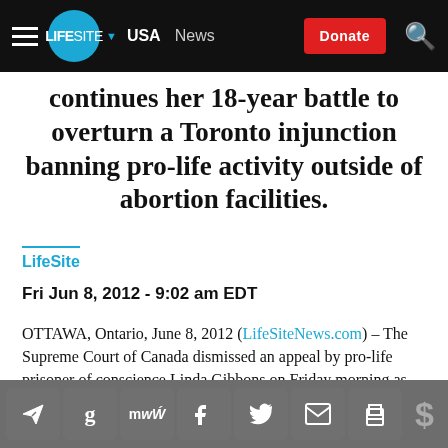LifeSite | USA | News | Donate
continues her 18-year battle to overturn a Toronto injunction banning pro-life activity outside of abortion facilities.
LifeSite
Fri Jun 8, 2012 - 9:02 am EDT
OTTAWA, Ontario, June 8, 2012 (LifeSiteNews.com) – The Supreme Court of Canada dismissed an appeal by pro-life prisoner of conscience Linda Gibbons on Friday morning as she continues her 18-year battle to
Share icons toolbar